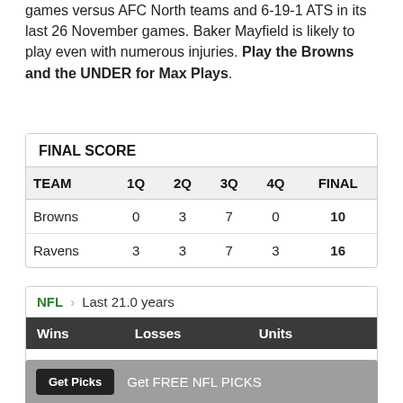games versus AFC North teams and 6-19-1 ATS in its last 26 November games. Baker Mayfield is likely to play even with numerous injuries. Play the Browns and the UNDER for Max Plays.
| TEAM | 1Q | 2Q | 3Q | 4Q | FINAL |
| --- | --- | --- | --- | --- | --- |
| Browns | 0 | 3 | 7 | 0 | 10 |
| Ravens | 3 | 3 | 7 | 3 | 16 |
| Wins | Losses | Units |
| --- | --- | --- |
| 2468 | 2179 | +192.85 |